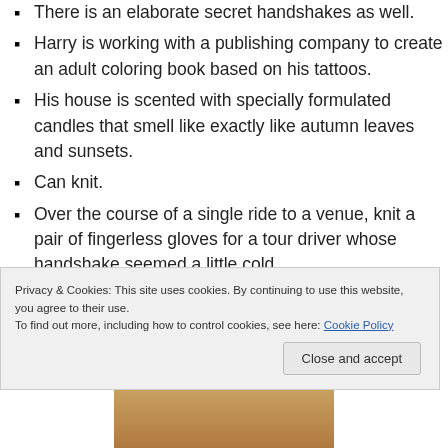There is an elaborate secret handshakes as well.
Harry is working with a publishing company to create an adult coloring book based on his tattoos.
His house is scented with specially formulated candles that smell like exactly like autumn leaves and sunsets.
Can knit.
Over the course of a single ride to a venue, knit a pair of fingerless gloves for a tour driver whose handshake seemed a little cold.
When his boots need repair, he just leaves them outside his door and it is taken care of:
Privacy & Cookies: This site uses cookies. By continuing to use this website, you agree to their use.
To find out more, including how to control cookies, see here: Cookie Policy
[Figure (photo): Partial photo strip at the bottom of the page showing a person]